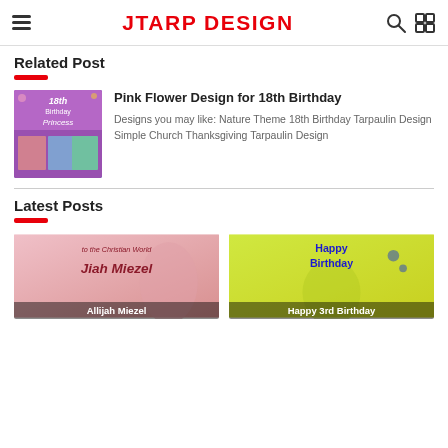JTARP DESIGN
Related Post
[Figure (photo): Thumbnail image for Pink Flower Design for 18th Birthday showing a birthday tarpaulin with a princess theme]
Pink Flower Design for 18th Birthday
Designs you may like: Nature Theme 18th Birthday Tarpaulin Design Simple Church Thanksgiving Tarpaulin Design
Latest Posts
[Figure (photo): Photo card with text 'to the Christian World' and 'Jiah Miezel' with label 'Allijah Miezel']
[Figure (photo): Photo card with yellow/green background, child holding up fingers, text 'Happy Birthday' with label 'Happy 3rd Birthday']